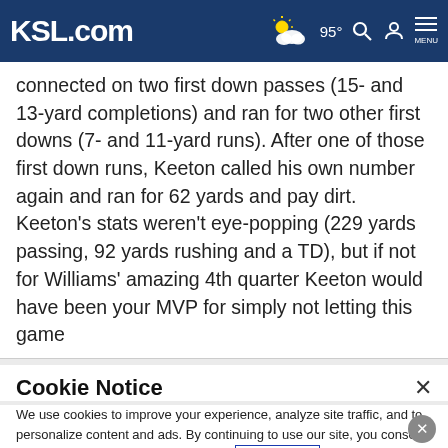KSL.com — 95° weather, search, account, menu
connected on two first down passes (15- and 13-yard completions) and ran for two other first downs (7- and 11-yard runs). After one of those first down runs, Keeton called his own number again and ran for 62 yards and pay dirt. Keeton's stats weren't eye-popping (229 yards passing, 92 yards rushing and a TD), but if not for Williams' amazing 4th quarter Keeton would have been your MVP for simply not letting this game
Cookie Notice
We use cookies to improve your experience, analyze site traffic, and to personalize content and ads. By continuing to use our site, you consent to our use of cookies. Please visit our Terms of Use and Privacy Policy for more information.